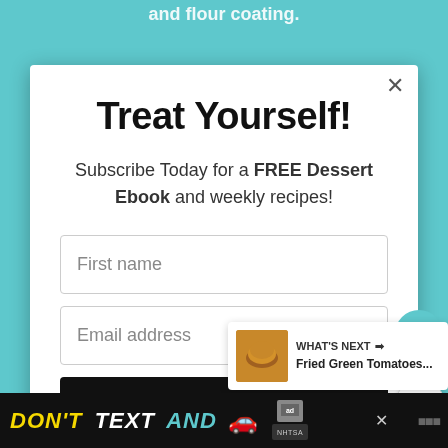[Figure (screenshot): Teal background with partially visible text 'and flour coating.' behind a white modal popup dialog]
Treat Yourself!
Subscribe Today for a FREE Dessert Ebook and weekly recipes!
First name
Email address
Subscribe
3.7K
WHAT'S NEXT → Fried Green Tomatoes...
[Figure (screenshot): Bottom advertisement banner showing DON'T TEXT AND with car emoji and NHTSA logo on black background]